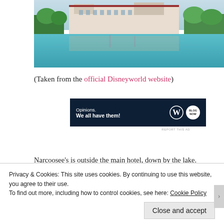[Figure (photo): Aerial/lakefront view of a large hotel/resort building reflected in a calm lake, with trees and blue sky. Likely Disney's Grand Floridian or similar resort.]
(Taken from the official Disneyworld website)
[Figure (infographic): Dark navy ad banner reading 'Opinions. We all have them!' with WordPress and Blog Now logos on the right.]
REPORT THIS AD
Narcoosee's is outside the main hotel, down by the lake.
Privacy & Cookies: This site uses cookies. By continuing to use this website, you agree to their use.
To find out more, including how to control cookies, see here: Cookie Policy
Close and accept